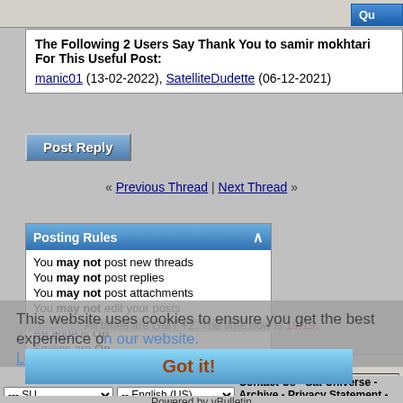The Following 2 Users Say Thank You to samir mokhtari For This Useful Post:
manic01 (13-02-2022), SatelliteDudette (06-12-2021)
[Figure (screenshot): Post Reply button - blue gradient button]
« Previous Thread | Next Thread »
Posting Rules
You may not post new threads
You may not post replies
You may not post attachments
You may not edit your posts
BB code is On
Smilies are On
[IMG] code is On
HTML code is Off
Forum Rules
This website uses cookies to ensure you get the best experience on our website.
Learn more about cookies
Forum Jump
Signal Reception
Got it!
All times are GMT +2. The time now is 19:19.
Contact Us - Sat Universe - Archive - Privacy Statement - Top
Powered by vBulletin Copyright ©2006-2019 - Sat Universe